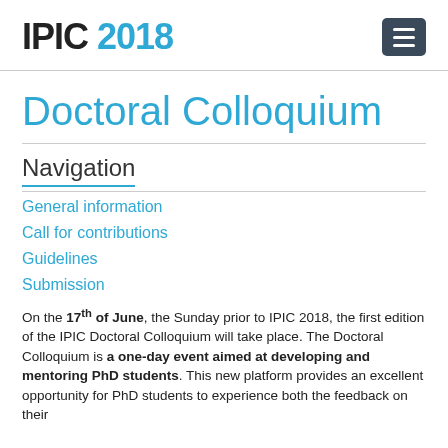IPIC 2018
Doctoral Colloquium
Navigation
General information
Call for contributions
Guidelines
Submission
On the 17th of June, the Sunday prior to IPIC 2018, the first edition of the IPIC Doctoral Colloquium will take place. The Doctoral Colloquium is a one-day event aimed at developing and mentoring PhD students. This new platform provides an excellent opportunity for PhD students to experience both the feedback on their